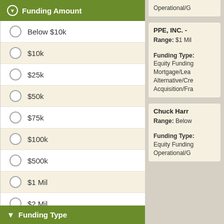Funding Amount
Below $10k
$10k
$25k
$50k
$75k
$100k
$500k
$1 Mil
$2 Mil
$5 Mil
$10 Mil
Above $10 Mil
Funding Type
Operational/G
PPE, INC. -
Range: $1 Mil
Funding Type: Equity Funding Mortgage/Lea Alternative/Cre Acquisition/Fra
Chuck Harr
Range: Below
Funding Type: Equity Funding Operational/G